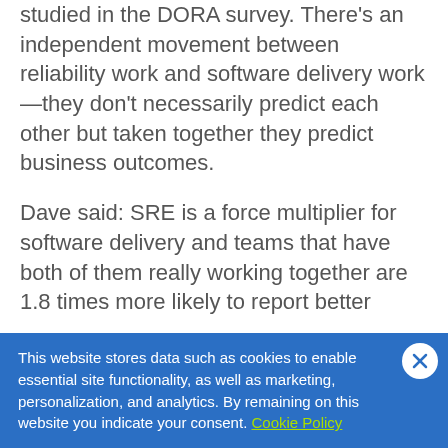studied in the DORA survey. There's an independent movement between reliability work and software delivery work—they don't necessarily predict each other but taken together they predict business outcomes.
Dave said: SRE is a force multiplier for software delivery and teams that have both of them really working together are 1.8 times more likely to report better
This website stores data such as cookies to enable essential site functionality, as well as marketing, personalization, and analytics. By remaining on this website you indicate your consent. Cookie Policy